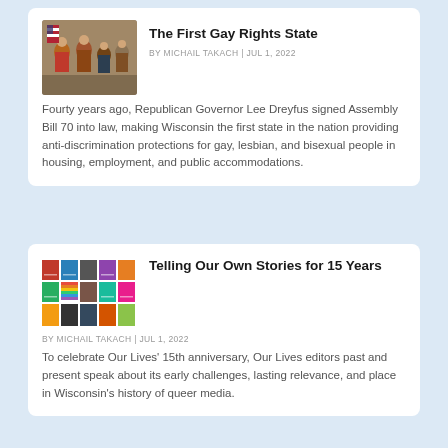[Figure (photo): Thumbnail photo of people at a signing event]
The First Gay Rights State
BY MICHAIL TAKACH | JUL 1, 2022
Fourty years ago, Republican Governor Lee Dreyfus signed Assembly Bill 70 into law, making Wisconsin the first state in the nation providing anti-discrimination protections for gay, lesbian, and bisexual people in housing, employment, and public accommodations.
[Figure (photo): Photo collage grid of magazine covers]
Telling Our Own Stories for 15 Years
BY MICHAIL TAKACH | JUL 1, 2022
To celebrate Our Lives' 15th anniversary, Our Lives editors past and present speak about its early challenges, lasting relevance, and place in Wisconsin's history of queer media.